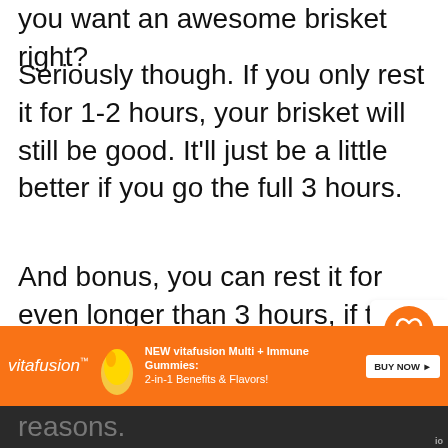you want an awesome brisket right?
Seriously though. If you only rest it for 1-2 hours, your brisket will still be good. It'll just be a little better if you go the full 3 hours.
And bonus, you can rest it for even longer than 3 hours, if that works best with your schedule.
[Figure (infographic): Heart/like button showing 26.3K and a share button]
[Figure (infographic): What's Next widget showing Hot and Fast Brisket with thumbnail]
I've smoked a brisket and let it rest in the cooler overnight. You just have to be sure
[Figure (infographic): Vitafusion advertisement banner: NEW vitafusion Multi + Immune Gummies: 2-in-1 Benefits & Flavors! BUY NOW]
reasons.